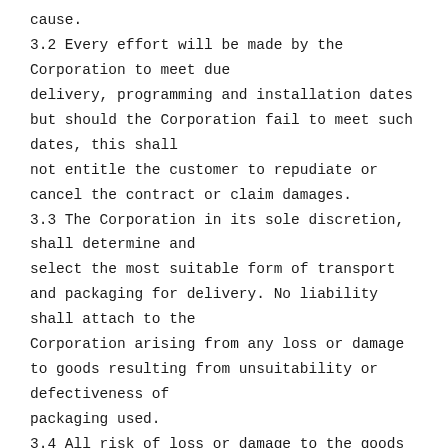cause.
3.2 Every effort will be made by the Corporation to meet due delivery, programming and installation dates but should the Corporation fail to meet such dates, this shall not entitle the customer to repudiate or cancel the contract or claim damages.
3.3 The Corporation in its sole discretion, shall determine and select the most suitable form of transport and packaging for delivery. No liability shall attach to the Corporation arising from any loss or damage to goods resulting from unsuitability or defectiveness of packaging used.
3.4 All risk of loss or damage to the goods shall be borne by the customer once delivery has been effected.
4. SCOPE OF LIABILITY OF SERVICE
4.1 Any order issued by you requires the written confirmation